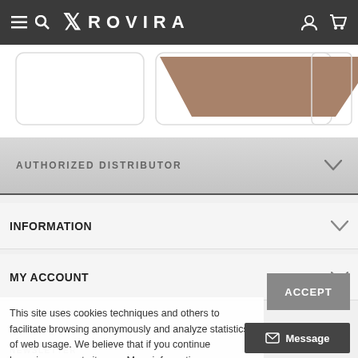ROVIRA
[Figure (photo): Product image strip showing brown/tan colored product shapes on white background]
AUTHORIZED DISTRIBUTOR
INFORMATION
MY ACCOUNT
STORE INFORMATION
FOLLOW US
NEWSLETTER
This site uses cookies techniques and others to facilitate browsing anonymously and analyze statistics of web usage. We believe that if you continue browsing, accepts its use. More information.
ACCEPT
Message